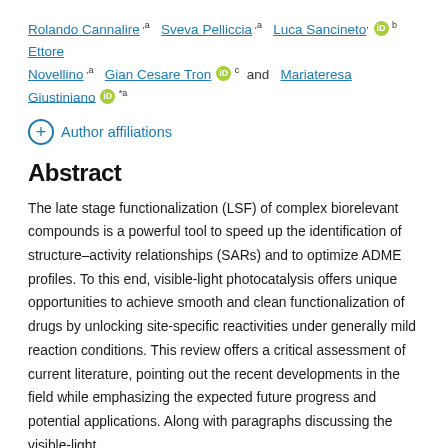Rolando Cannalire, a Sveva Pelliccia, a Luca Sancineto, [ORCID] b Ettore Novellino, a Gian Cesare Tron [ORCID] c and Mariateresa Giustiniano [ORCID] *a
⊕ Author affiliations
Abstract
The late stage functionalization (LSF) of complex biorelevant compounds is a powerful tool to speed up the identification of structure–activity relationships (SARs) and to optimize ADME profiles. To this end, visible-light photocatalysis offers unique opportunities to achieve smooth and clean functionalization of drugs by unlocking site-specific reactivities under generally mild reaction conditions. This review offers a critical assessment of current literature, pointing out the recent developments in the field while emphasizing the expected future progress and potential applications. Along with paragraphs discussing the visible-light photocatalytic synthetic toolbox for visible-light LSF of drugs